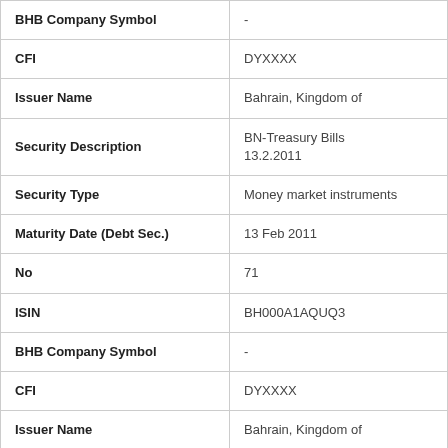| Field | Value |
| --- | --- |
| BHB Company Symbol | - |
| CFI | DYXXXX |
| Issuer Name | Bahrain, Kingdom of |
| Security Description | BN-Treasury Bills 13.2.2011 |
| Security Type | Money market instruments |
| Maturity Date (Debt Sec.) | 13 Feb 2011 |
| No | 71 |
| ISIN | BH000A1AQUQ3 |
| BHB Company Symbol | - |
| CFI | DYXXXX |
| Issuer Name | Bahrain, Kingdom of |